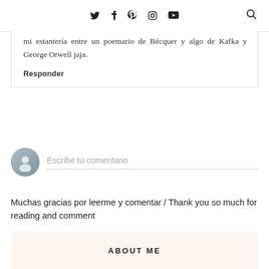social media icons: Twitter, Facebook, Pinterest, Instagram, YouTube, Search
mi estantería entre un poemario de Bécquer y algo de Kafka y George Orwell jaja.
Responder
[Figure (illustration): User avatar placeholder circle with a person silhouette icon]
Escribe tu comentario
Muchas gracias por leerme y comentar / Thank you so much for reading and comment
ABOUT ME